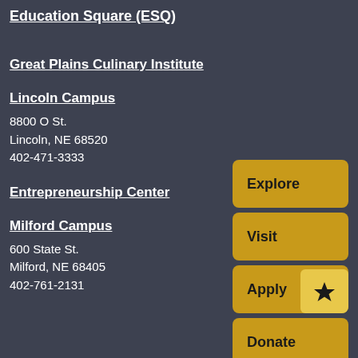Education Square (ESQ)
Great Plains Culinary Institute
Lincoln Campus
8800 O St.
Lincoln, NE 68520
402-471-3333
Entrepreneurship Center
Milford Campus
600 State St.
Milford, NE 68405
402-761-2131
[Figure (other): Four golden/yellow action buttons: Explore, Visit, Apply (with star overlay icon), Donate]
Explore
Visit
Apply
Donate